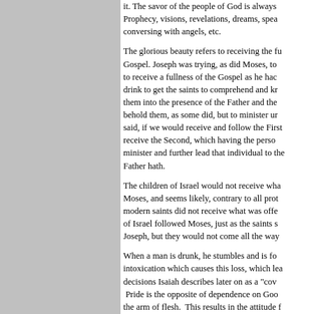it. The savor of the people of God is always Prophecy, visions, revelations, dreams, speaking conversing with angels, etc.
The glorious beauty refers to receiving the fullness of the Gospel. Joseph was trying, as did Moses, to get the saints to receive a fullness of the Gospel as he had. He gave them drink to get the saints to comprehend and know...to bring them into the presence of the Father and the Son, not to behold them, as some did, but to minister unto them. Joseph said, if we would receive and follow the First Comforter, we'd receive the Second, which having the person...would minister and further lead that individual to the Father hath.
The children of Israel would not receive what Moses offered. Moses, and seems likely, contrary to all protestations, the modern saints did not receive what was offered. The children of Israel followed Moses, just as the saints s Joseph, but they would not come all the way
When a man is drunk, he stumbles and is fo intoxication which causes this loss, which lea decisions Isaiah describes later on as a "cov Pride is the opposite of dependence on God the arm of flesh. This results in the attitude t Wilford Woodruff when he stated, "follow me will never lead you astray."
The Lord commanded us through Nephi that man at all. We could listen, but unless God